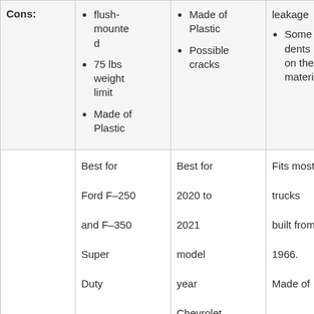| Cons: | flush-mounted
75 lbs weight limit
Made of Plastic | Made of Plastic
Possible cracks | leakage
Some dents on the material |
|  | Best for Ford F-250 and F-350 Super Duty | Best for 2020 to 2021 model year Chevrolet Silverado / | Fits most trucks built from 1966. Made of |